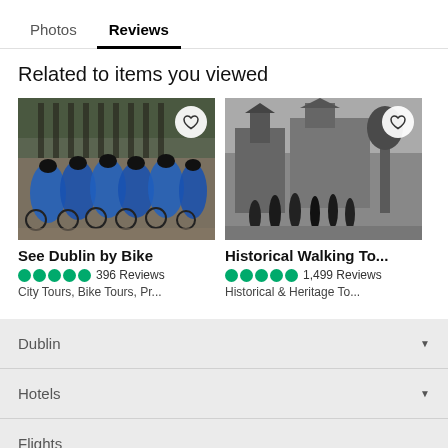Photos  Reviews
Related to items you viewed
[Figure (photo): Group of cyclists in blue jackets with bikes on cobblestone, See Dublin by Bike tour]
See Dublin by Bike
●●●●● 396 Reviews
City Tours, Bike Tours, Pr...
[Figure (photo): Black and white photo of people walking in front of historic cathedral buildings, Historical Walking Tour]
Historical Walking To...
●●●●● 1,499 Reviews
Historical & Heritage To...
[Figure (photo): Partial image of a person's face, Rura... tour]
Ruro
Bar, C
Dublin
Hotels
Flights